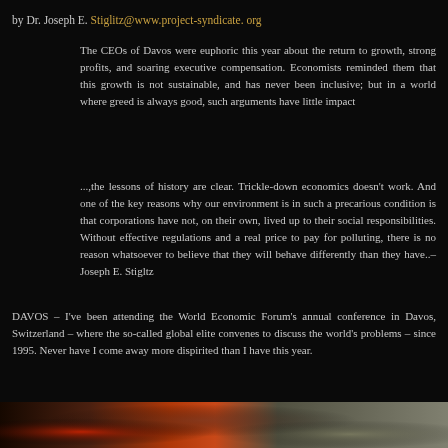by Dr. Joseph E. Stiglitz@www.project-syndicate. org
The CEOs of Davos were euphoric this year about the return to growth, strong profits, and soaring executive compensation. Economists reminded them that this growth is not sustainable, and has never been inclusive; but in a world where greed is always good, such arguments have little impact
...,the lessons of history are clear. Trickle-down economics doesn't work. And one of the key reasons why our environment is in such a precarious condition is that corporations have not, on their own, lived up to their social responsibilities. Without effective regulations and a real price to pay for polluting, there is no reason whatsoever to believe that they will behave differently than they have..–Joseph E. Stigltz
DAVOS – I've been attending the World Economic Forum's annual conference in Davos, Switzerland – where the so-called global elite convenes to discuss the world's problems – since 1995. Never have I come away more dispirited than I have this year.
[Figure (photo): A partial photo strip at the bottom of the page showing what appears to be a crowd or outdoor scene with reddish and earth-tone colors.]